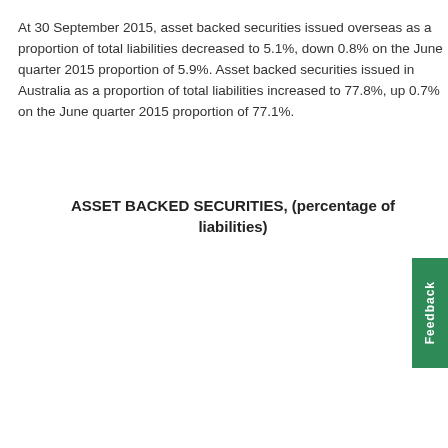At 30 September 2015, asset backed securities issued overseas as a proportion of total liabilities decreased to 5.1%, down 0.8% on the June quarter 2015 proportion of 5.9%. Asset backed securities issued in Australia as a proportion of total liabilities increased to 77.8%, up 0.7% on the June quarter 2015 proportion of 77.1%.
ASSET BACKED SECURITIES, (percentage of liabilities)